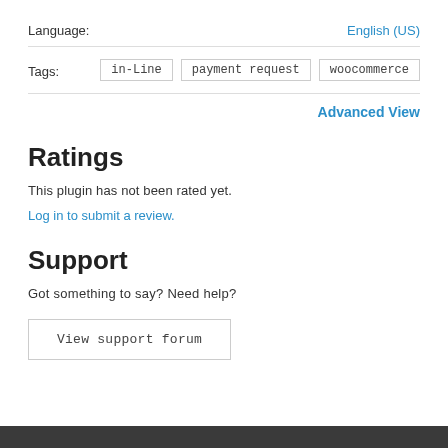Language:
English (US)
Tags:
in-Line  payment request  woocommerce
Advanced View
Ratings
This plugin has not been rated yet.
Log in to submit a review.
Support
Got something to say? Need help?
View support forum